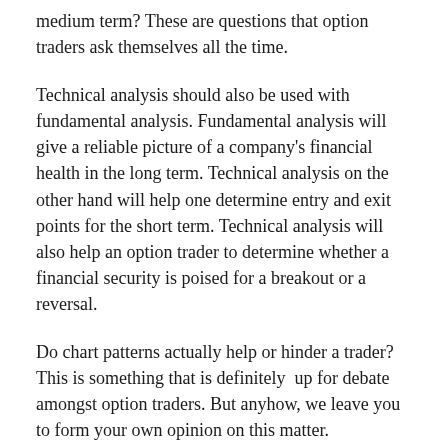medium term? These are questions that option traders ask themselves all the time.
Technical analysis should also be used with fundamental analysis. Fundamental analysis will give a reliable picture of a company's financial health in the long term. Technical analysis on the other hand will help one determine entry and exit points for the short term. Technical analysis will also help an option trader to determine whether a financial security is poised for a breakout or a reversal.
Do chart patterns actually help or hinder a trader? This is something that is definitely up for debate amongst option traders. But anyhow, we leave you to form your own opinion on this matter.
In this section, we will discuss relevant chart patterns such as: